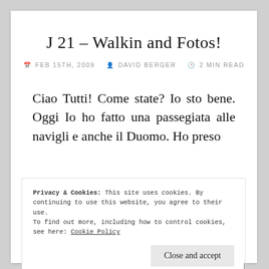J 21 – Walkin and Fotos!
📅 FEB 15TH, 2009  👤 DAVID BERGER  🕐 2 MIN READ
Ciao Tutti! Come state? Io sto bene. Oggi Io ho fatto una passegiata alle navigli e anche il Duomo. Ho preso
Privacy & Cookies: This site uses cookies. By continuing to use this website, you agree to their use.
To find out more, including how to control cookies, see here: Cookie Policy
walk from Bocconi Univeristy down